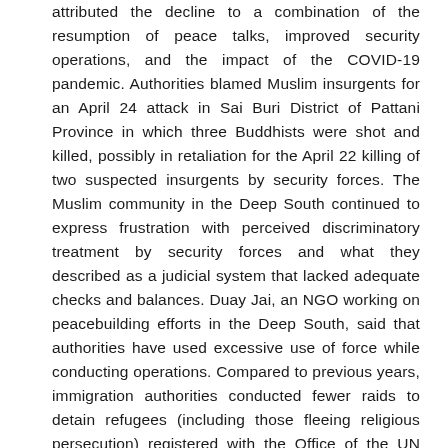attributed the decline to a combination of the resumption of peace talks, improved security operations, and the impact of the COVID-19 pandemic. Authorities blamed Muslim insurgents for an April 24 attack in Sai Buri District of Pattani Province in which three Buddhists were shot and killed, possibly in retaliation for the April 22 killing of two suspected insurgents by security forces. The Muslim community in the Deep South continued to express frustration with perceived discriminatory treatment by security forces and what they described as a judicial system that lacked adequate checks and balances. Duay Jai, an NGO working on peacebuilding efforts in the Deep South, said that authorities have used excessive use of force while conducting operations. Compared to previous years, immigration authorities conducted fewer raids to detain refugees (including those fleeing religious persecution) registered with the Office of the UN High Commissioner for Refugees (UNHCR), as a part of what the government said were routine measures against illegal immigration. Media and NGOs reported